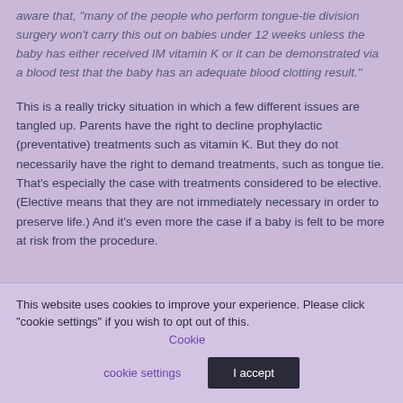aware that, "many of the people who perform tongue-tie division surgery won't carry this out on babies under 12 weeks unless the baby has either received IM vitamin K or it can be demonstrated via a blood test that the baby has an adequate blood clotting result."
This is a really tricky situation in which a few different issues are tangled up. Parents have the right to decline prophylactic (preventative) treatments such as vitamin K. But they do not necessarily have the right to demand treatments, such as tongue tie. That's especially the case with treatments considered to be elective. (Elective means that they are not immediately necessary in order to preserve life.) And it's even more the case if a baby is felt to be more at risk from the procedure.
This website uses cookies to improve your experience. Please click "cookie settings" if you wish to opt out of this. Cookie settings | I accept